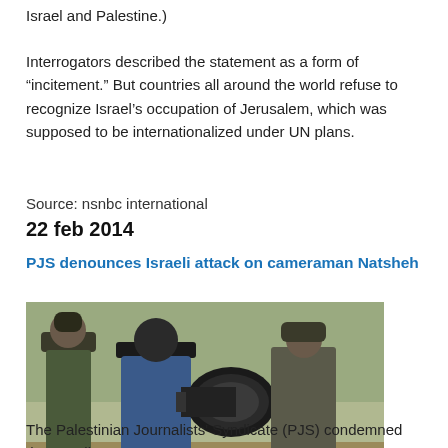Israel and Palestine.)
Interrogators described the statement as a form of “incitement.” But countries all around the world refuse to recognize Israel’s occupation of Jerusalem, which was supposed to be internationalized under UN plans.
Source: nsnbc international
22 feb 2014
PJS denounces Israeli attack on cameraman Natsheh
[Figure (photo): Photograph of cameraman with large camera lens being accompanied by soldiers in military gear in an outdoor setting]
The Palestinian Journalists' Syndicate (PJS) condemned the Israeli